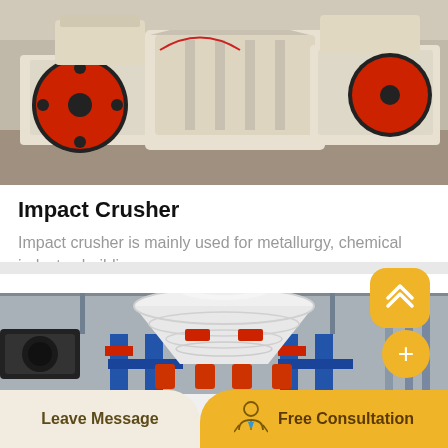[Figure (photo): Industrial impact crusher machine in a factory warehouse — large red flywheel, white/beige housing, heavy machinery on the left and right side]
Impact Crusher
Impact crusher is mainly used for metallurgy, chemical industry, building...
[Figure (photo): Cone crusher machine in a factory — large white conical top unit with red accents, mounted on blue steel frame support legs, industrial interior background]
Leave Message    Free Consultation